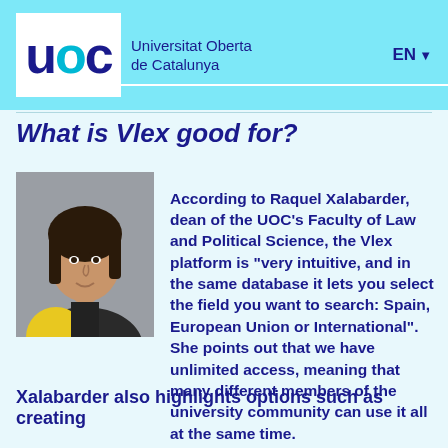Universitat Oberta de Catalunya   EN
What is Vlex good for?
[Figure (photo): Portrait photo of Raquel Xalabarder, a woman with dark shoulder-length hair, smiling, wearing a yellow and black top, against a grey background.]
According to Raquel Xalabarder, dean of the UOC's Faculty of Law and Political Science, the Vlex platform is "very intuitive, and in the same database it lets you select the field you want to search: Spain, European Union or International". She points out that we have unlimited access, meaning that many different members of the university community can use it all at the same time.
Xalabarder also highlights options such as creating